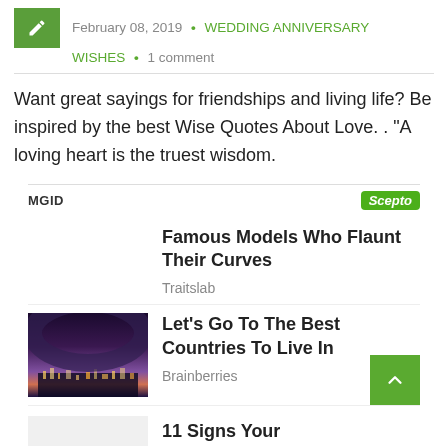February 08, 2019 • WEDDING ANNIVERSARY WISHES • 1 comment
Want great sayings for friendships and living life? Be inspired by the best Wise Quotes About Love. . “A loving heart is the truest wisdom.
[Figure (infographic): MGID advertisement section with Scepto badge, showing promoted content: 'Famous Models Who Flaunt Their Curves' by Traitslab, 'Let's Go To The Best Countries To Live In' by Brainberries (with aerial city image), and partial '11 Signs Your' item]
Famous Models Who Flaunt Their Curves
Traitslab
Let's Go To The Best Countries To Live In
Brainberries
11 Signs Your